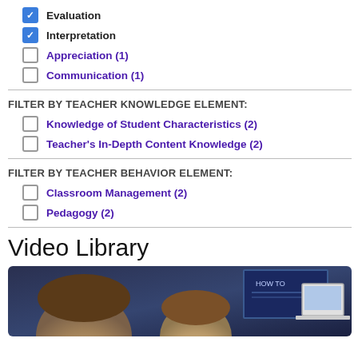Evaluation (checked)
Interpretation (checked)
Appreciation (1)
Communication (1)
FILTER BY TEACHER KNOWLEDGE ELEMENT:
Knowledge of Student Characteristics (2)
Teacher's In-Depth Content Knowledge (2)
FILTER BY TEACHER BEHAVIOR ELEMENT:
Classroom Management (2)
Pedagogy (2)
Video Library
[Figure (photo): Classroom scene showing students from behind, with a blue bulletin board and laptop visible in the background]